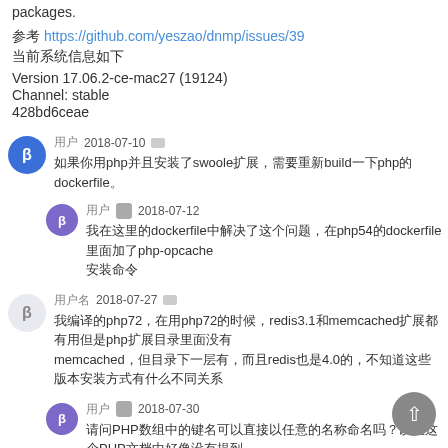packages.
参考 https://github.com/yeszao/dnmp/issues/39
当前系统信息如下
Version 17.06.2-ce-mac27 (19124)
Channel: stable
428bd6ceae
用户 2018-07-10 回复 如果你用php并且安装了swoole扩展，需要重新build一下php的dockerfile。
用户 标签 2018-07-12 我在这里的dockerfile中解决了这个问题，在php54的dockerfile里面加了php-opcache 安装命令
用户名 2018-07-27 回复 我编译的php72，在用php72的时候，redis3.1和memcached扩展都有用但是php扩展目录里面没有memcached，但目录下一层有，而且redis也是4.0的，不知道这些版本安装方式有什么不同
用户 标签 2018-07-30 请问PHP数组中的键名可以直接以任意的名称命名吗？以上这个PHP文档中好像没有提到。